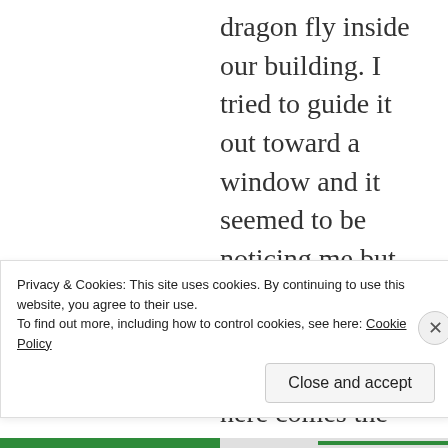dragon fly inside our building. I tried to guide it out toward a window and it seemed to be noticing me but couldn't trust me and flew off. yesterday at work here comes the dragon fly! This time he circles me and lands on my forehead. I walk to the window and slide him off to freedom. No pictures but four witnesses who think I am the dragon fly whisperer
Privacy & Cookies: This site uses cookies. By continuing to use this website, you agree to their use. To find out more, including how to control cookies, see here: Cookie Policy
Close and accept